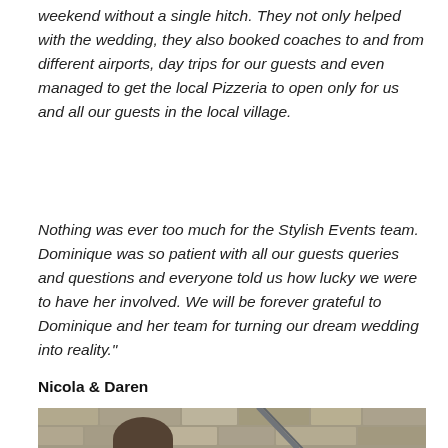weekend without a single hitch. They not only helped with the wedding, they also booked coaches to and from different airports, day trips for our guests and even managed to get the local Pizzeria to open only for us and all our guests in the local village.
Nothing was ever too much for the Stylish Events team. Dominique was so patient with all our guests queries and questions and everyone told us how lucky we were to have her involved. We will be forever grateful to Dominique and her team for turning our dream wedding into reality."
Nicola & Daren
[Figure (photo): Outdoor stone wall scene with a metal railing/staircase, showing old stone masonry]